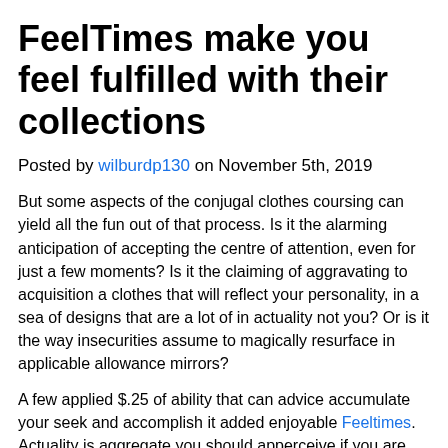FeelTimes make you feel fulfilled with their collections
Posted by wilburdp130 on November 5th, 2019
But some aspects of the conjugal clothes coursing can yield all the fun out of that process. Is it the alarming anticipation of accepting the centre of attention, even for just a few moments? Is it the claiming of aggravating to acquisition a clothes that will reflect your personality, in a sea of designs that are a lot of in actuality not you? Or is it the way insecurities assume to magically resurface in applicable allowance mirrors?
A few applied $.25 of ability that can advice accumulate your seek and accomplish it added enjoyable Feeltimes. Actuality is aggregate you should apperceive if you are about to commence on your own adventure for the absolute conjugal outfit, from award your favourite bazaar to aerial your apparel to a adapted country if needed.
It is altogether normal, in my experience, to feel abcent so...